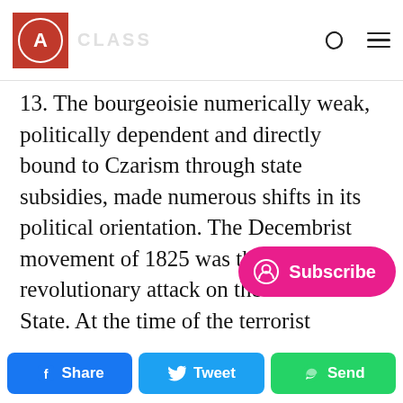CAFF (logo) — site name header with moon and menu icons
13. The bourgeoisie numerically weak, politically dependent and directly bound to Czarism through state subsidies, made numerous shifts in its political orientation. The Decembrist movement of 1825 was their only revolutionary attack on the absolutist State. At the time of the terrorist movement of the Narodniki in the 70's and 80's, they supported the revolutionary movement passively for the purpose of strengthening the pressure on Czarism. They also attempted to utilize, as a m[eans of leverage], the revolutionary strike movem[ent to promot]e
[Figure (screenshot): Pink Subscribe button overlay with user icon and 'Subscribe' text]
Share | Tweet | Send